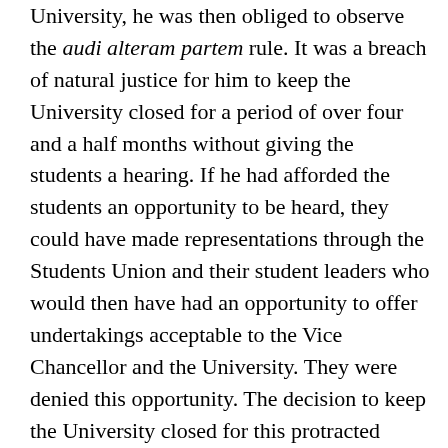University, he was then obliged to observe the audi alteram partem rule. It was a breach of natural justice for him to keep the University closed for a period of over four and a half months without giving the students a hearing. If he had afforded the students an opportunity to be heard, they could have made representations through the Students Union and their student leaders who would then have had an opportunity to offer undertakings acceptable to the Vice Chancellor and the University. They were denied this opportunity. The decision to keep the University closed for this protracted period without allowing the excluded students an opportunity to make representations was thus unlawful and the purported ratification of this decision by the University Council was of no force and effect.